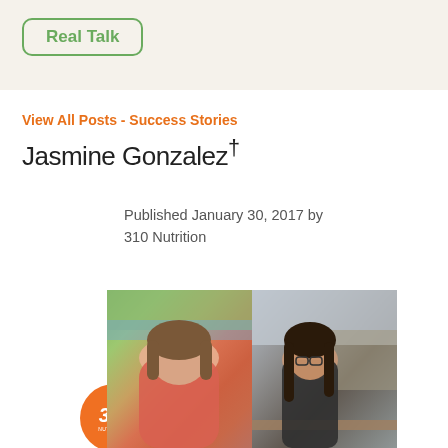Real Talk
View All Posts - Success Stories
Jasmine Gonzalez†
Published January 30, 2017 by 310 Nutrition
[Figure (photo): Before and after comparison photo of Jasmine Gonzalez. Left photo shows her before weight loss wearing a red dress outdoors. Right photo shows her after weight loss wearing glasses and a dark shirt outdoors.]